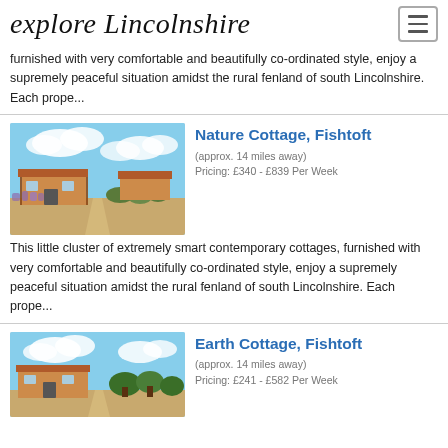explore Lincolnshire
furnished with very comfortable and beautifully co-ordinated style, enjoy a supremely peaceful situation amidst the rural fenland of south Lincolnshire. Each prope...
Nature Cottage, Fishtoft
(approx. 14 miles away)
Pricing: £340 - £839 Per Week
[Figure (photo): Photo of Nature Cottage, Fishtoft — a low terracotta-roofed cottage with lavender garden in front, blue sky with white clouds]
This little cluster of extremely smart contemporary cottages, furnished with very comfortable and beautifully co-ordinated style, enjoy a supremely peaceful situation amidst the rural fenland of south Lincolnshire. Each prope...
Earth Cottage, Fishtoft
(approx. 14 miles away)
Pricing: £241 - £582 Per Week
[Figure (photo): Photo of Earth Cottage, Fishtoft — similar low cottage with terracotta roof, blue sky with clouds]